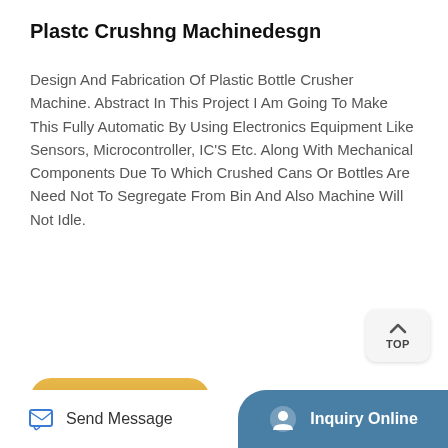Plastc Crushng Machinedesgn
Design And Fabrication Of Plastic Bottle Crusher Machine. Abstract In This Project I Am Going To Make This Fully Automatic By Using Electronics Equipment Like Sensors, Microcontroller, IC'S Etc. Along With Mechanical Components Due To Which Crushed Cans Or Bottles Are Need Not To Segregate From Bin And Also Machine Will Not Idle.
[Figure (other): Free Quote button - golden/yellow rounded button with bold text 'Free Quote']
[Figure (photo): Factory interior showing large industrial plastic crushing machines in a warehouse with metal roof structure]
Send Message | Inquiry Online